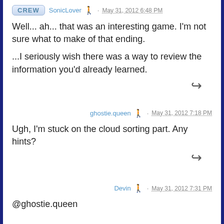CREW  SonicLover · May 31, 2012 6:48 PM
Well... ah... that was an interesting game. I'm not sure what to make of that ending.

...I seriously wish there was a way to review the information you'd already learned.
ghostie.queen · May 31, 2012 7:18 PM
Ugh, I'm stuck on the cloud sorting part. Any hints?
Devin · May 31, 2012 7:31 PM
@ghostie.queen